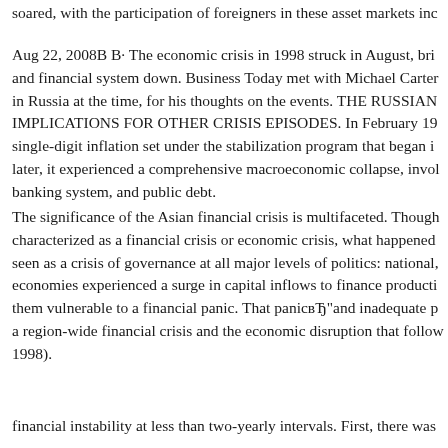soared, with the participation of foreigners in these asset markets inc
Aug 22, 2008B B· The economic crisis in 1998 struck in August, bri and financial system down. Business Today met with Michael Carter in Russia at the time, for his thoughts on the events. THE RUSSIAN IMPLICATIONS FOR OTHER CRISIS EPISODES. In February 19 single-digit inflation set under the stabilization program that began i later, it experienced a comprehensive macroeconomic collapse, invol banking system, and public debt.
The significance of the Asian financial crisis is multifaceted. Though characterized as a financial crisis or economic crisis, what happened seen as a crisis of governance at all major levels of politics: national, economies experienced a surge in capital inflows to finance producti them vulnerable to a financial panic. That panicвЂ"and inadequate p a region-wide financial crisis and the economic disruption that follo 1998).
financial instability at less than two-yearly intervals. First, there was